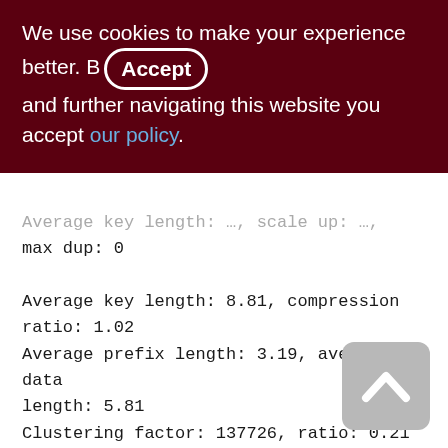We use cookies to make your experience better. By Accepting and further navigating this website you accept our policy.
Average key length: …, scale up: …, max dup: 0
Average key length: 8.81, compression ratio: 1.02
Average prefix length: 3.19, average data length: 5.81
Clustering factor: 137726, ratio: 0.21
Fill distribution:
0 - 19% = 109
20 - 39% = 441
40 - 59% = 522
60 - 79% = 350
80 - 99% = 327